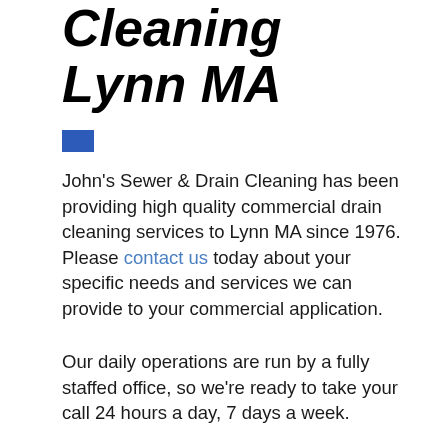Cleaning Lynn MA
John's Sewer & Drain Cleaning has been providing high quality commercial drain cleaning services to Lynn MA since 1976. Please contact us today about your specific needs and services we can provide to your commercial application.
Our daily operations are run by a fully staffed office, so we're ready to take your call 24 hours a day, 7 days a week.